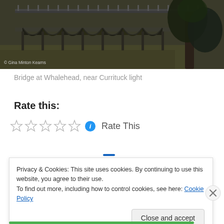[Figure (photo): Photograph of a wooden bridge with arched supports over water, with large tree on right side. Photo credit: © Gina Minton Kearns]
Bridge at Whalehead, near Currituck light
Rate this:
Rate This
Privacy & Cookies: This site uses cookies. By continuing to use this website, you agree to their use.
To find out more, including how to control cookies, see here: Cookie Policy
Close and accept